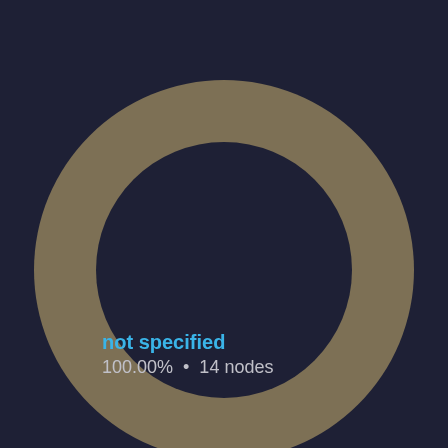[Figure (donut-chart): ]
not specified 100.00% • 14 nodes